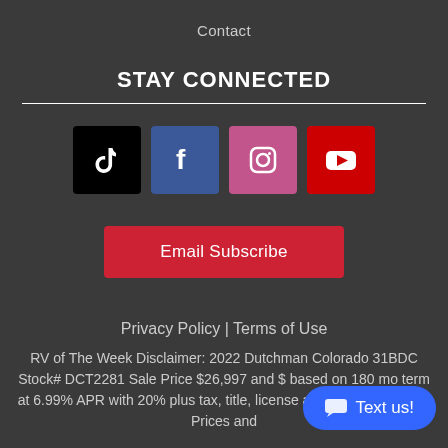Contact
STAY CONNECTED
[Figure (other): Social media icons: TikTok, Facebook, Instagram, YouTube]
Email Subscribe
Privacy Policy | Terms of Use
RV of The Week Disclaimer: 2022 Dutchman Colorado 31BDC Stock# DCT2281 Sale Price $26,997 and $[...] based on 180 mo term at 6.99% APR with 20%[...] plus tax, title, license and approved credit. Prices and
Text us!